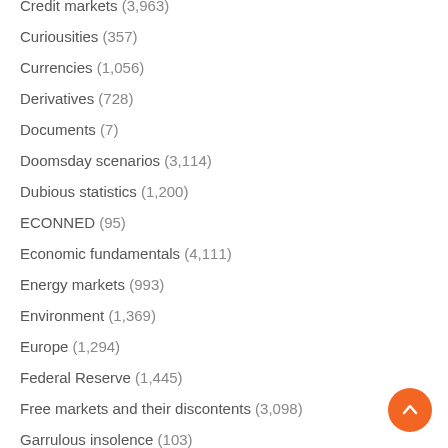Credit markets (3,963)
Curiousities (357)
Currencies (1,056)
Derivatives (728)
Documents (7)
Doomsday scenarios (3,114)
Dubious statistics (1,200)
ECONNED (95)
Economic fundamentals (4,111)
Energy markets (993)
Environment (1,369)
Europe (1,294)
Federal Reserve (1,445)
Free markets and their discontents (3,098)
Garrulous insolence (103)
Global warming (1,102)
Globalization (1,828)